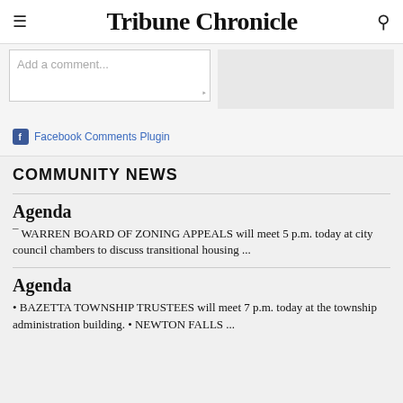Tribune Chronicle
[Figure (screenshot): Facebook comment input box with placeholder text 'Add a comment...' and Facebook Comments Plugin link below]
COMMUNITY NEWS
Agenda
— WARREN BOARD OF ZONING APPEALS will meet 5 p.m. today at city council chambers to discuss transitional housing ...
Agenda
• BAZETTA TOWNSHIP TRUSTEES will meet 7 p.m. today at the township administration building. • NEWTON FALLS ...